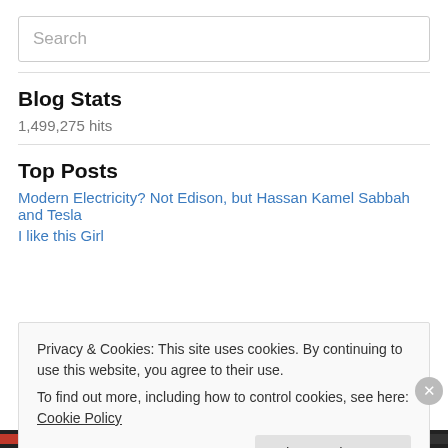[Figure (screenshot): Search input box with placeholder text 'Search']
Blog Stats
1,499,275 hits
Top Posts
Modern Electricity? Not Edison, but Hassan Kamel Sabbah and Tesla
I like this Girl
Privacy & Cookies: This site uses cookies. By continuing to use this website, you agree to their use.
To find out more, including how to control cookies, see here: Cookie Policy